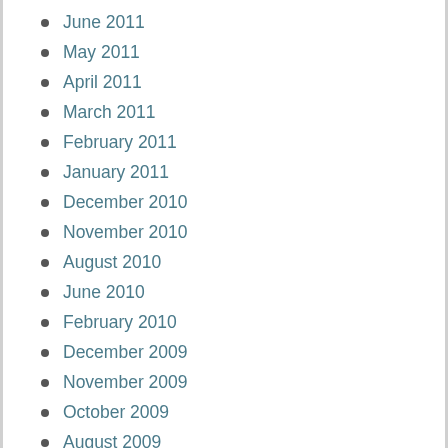June 2011
May 2011
April 2011
March 2011
February 2011
January 2011
December 2010
November 2010
August 2010
June 2010
February 2010
December 2009
November 2009
October 2009
August 2009
July 2009
June 2009
April 2009